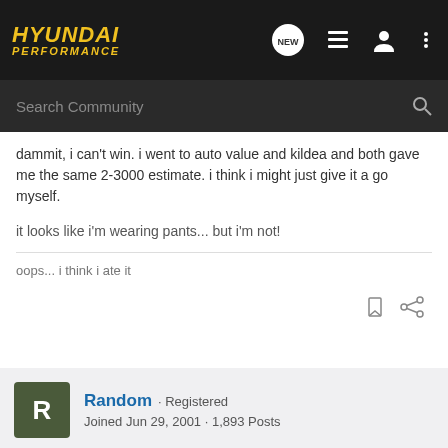HYUNDAI PERFORMANCE
dammit, i can't win. i went to auto value and kildea and both gave me the same 2-3000 estimate. i think i might just give it a go myself.
it looks like i'm wearing pants... but i'm not!
oops... i think i ate it
Random · Registered
Joined Jun 29, 2001 · 1,893 Posts